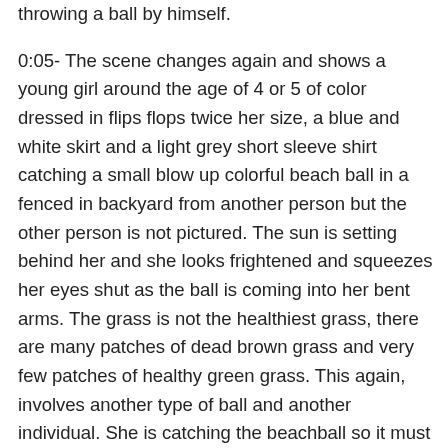throwing a ball by himself.
0:05- The scene changes again and shows a young girl around the age of 4 or 5 of color dressed in flips flops twice her size, a blue and white skirt and a light grey short sleeve shirt catching a small blow up colorful beach ball in a fenced in backyard from another person but the other person is not pictured. The sun is setting behind her and she looks frightened and squeezes her eyes shut as the ball is coming into her bent arms. The grass is not the healthiest grass, there are many patches of dead brown grass and very few patches of healthy green grass. This again, involves another type of ball and another individual. She is catching the beachball so it must be coming from another